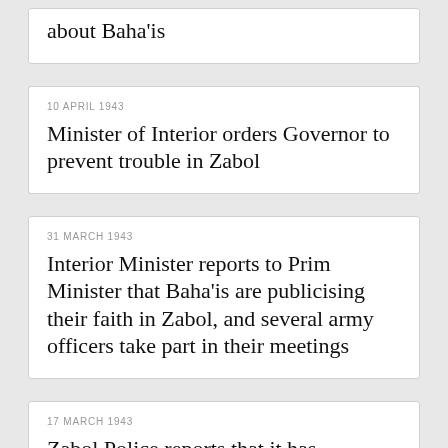about Baha'is
10 APRIL 1943
Minister of Interior orders Governor to prevent trouble in Zabol
31 MARCH 1943
Interior Minister reports to Prim Minister that Baha'is are publicising their faith in Zabol, and several army officers take part in their meetings
17 MARCH 1943
Zabol Police reports that it has prevented clashes in the city
30 JANUARY 1943
A army report about intelligence Baha'i...